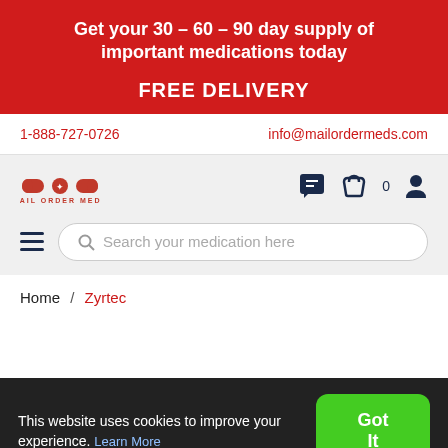Get your 30 – 60 – 90 day supply of important medications today
FREE DELIVERY
1-888-727-0726
info@mailordermeds.com
[Figure (logo): Mail Order Meds logo with pill icons and Canadian maple leaf]
Search your medication here
Home / Zyrtec
This website uses cookies to improve your experience. Learn More
Got It